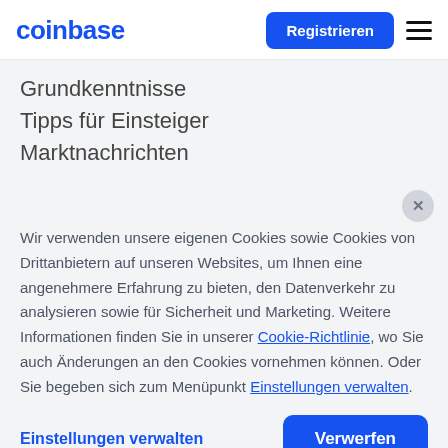coinbase
Grundkenntnisse
Tipps für Einsteiger
Marktnachrichten
Wir verwenden unsere eigenen Cookies sowie Cookies von Drittanbietern auf unseren Websites, um Ihnen eine angenehmere Erfahrung zu bieten, den Datenverkehr zu analysieren sowie für Sicherheit und Marketing. Weitere Informationen finden Sie in unserer Cookie-Richtlinie, wo Sie auch Änderungen an den Cookies vornehmen können. Oder Sie begeben sich zum Menüpunkt Einstellungen verwalten.
Einstellungen verwalten   Verwerfen